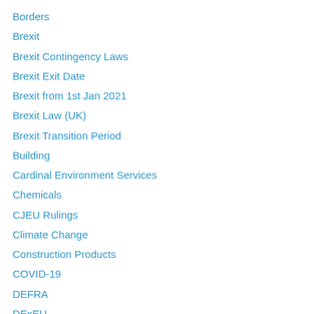Borders
Brexit
Brexit Contingency Laws
Brexit Exit Date
Brexit from 1st Jan 2021
Brexit Law (UK)
Brexit Transition Period
Building
Cardinal Environment Services
Chemicals
CJEU Rulings
Climate Change
Construction Products
COVID-19
DEFRA
DExEU
DFT
DIT
Eco-Design
Energy